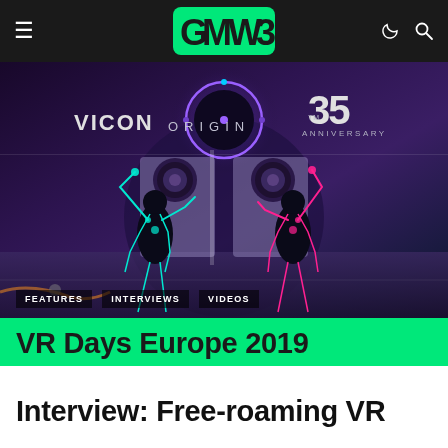GMW3 - Navigation header with hamburger menu, GMW3 logo, dark mode and search icons
[Figure (photo): Hero image showing two VR avatars in black bodysuits with cyan and pink neon outlines reaching toward futuristic panels, with Vicon Origin 35th Anniversary branding overhead, purple/blue sci-fi background]
FEATURES   INTERVIEWS   VIDEOS
VR Days Europe 2019
Interview: Free-roaming VR